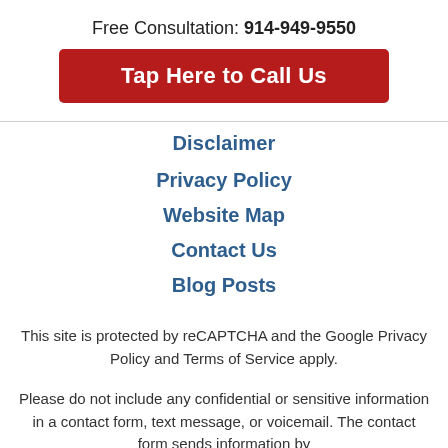Free Consultation: 914-949-9550
Tap Here to Call Us
Disclaimer
Privacy Policy
Website Map
Contact Us
Blog Posts
This site is protected by reCAPTCHA and the Google Privacy Policy and Terms of Service apply.
Please do not include any confidential or sensitive information in a contact form, text message, or voicemail. The contact form sends information by